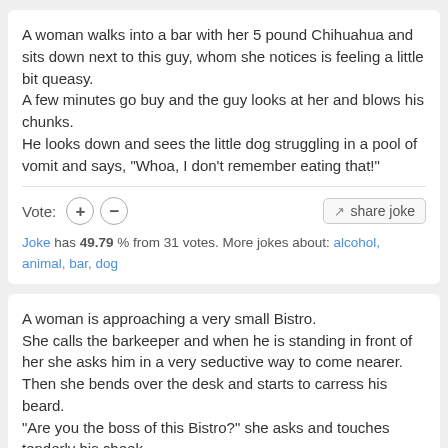A woman walks into a bar with her 5 pound Chihuahua and sits down next to this guy, whom she notices is feeling a little bit queasy.
A few minutes go buy and the guy looks at her and blows his chunks.
He looks down and sees the little dog struggling in a pool of vomit and says, "Whoa, I don't remember eating that!"
Vote: [+] [-]   share joke
Joke has 49.79 % from 31 votes. More jokes about: alcohol, animal, bar, dog
A woman is approaching a very small Bistro.
She calls the barkeeper and when he is standing in front of her she asks him in a very seductive way to come nearer.
Then she bends over the desk and starts to carress his beard.
"Are you the boss of this Bistro?" she asks and touches tenderly his cheek.
"Ehhh. No.